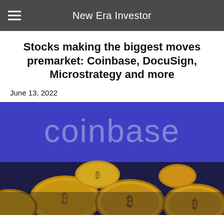New Era Investor
Stocks making the biggest moves premarket: Coinbase, DocuSign, Microstrategy and more
June 13, 2022
[Figure (photo): Coinbase logo on a blue background with gold Bitcoin cryptocurrency coins in the foreground]